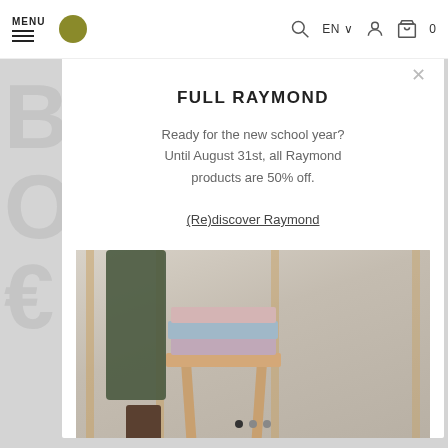MENU
FULL RAYMOND
Ready for the new school year? Until August 31st, all Raymond products are 50% off.
(Re)discover Raymond
[Figure (photo): Stack of folded textiles/towels in pink, blue, and beige colors on a wooden stool, with a green draped fabric and wooden shelving unit in the background]